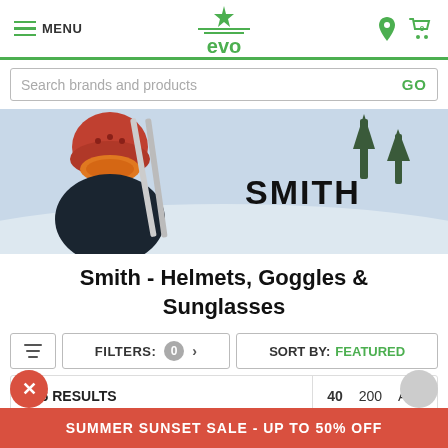MENU | evo | location icon | cart icon
Search brands and products GO
[Figure (photo): Skier wearing an orange/red helmet with ski goggles in a snowy mountain scene, with SMITH logo displayed on the right side of the hero banner.]
Smith - Helmets, Goggles & Sunglasses
FILTERS: 0 > | SORT BY: FEATURED
226 RESULTS | 40  200  ALL
SUMMER SUNSET SALE - UP TO 50% OFF